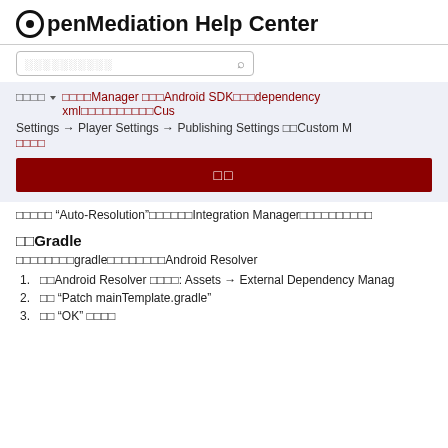OpenMediation Help Center
（搜索占位符）
（下拉）▾ 在Integration Manager 中在Android SDK的dependency xml中加入自定义Cus Settings → Player Settings → Publishing Settings 中的Custom 设置 ...
确认
关闭 'Auto-Resolution'功能以避免Integration Manager的冲突问题
使Gradle
以下步骤使gradle模式运行Android Resolver
1. 打开Android Resolver 设置： Assets → External Dependency Manag...
2. 勾选 "Patch mainTemplate.gradle"
3. 点击 "OK" 并等待